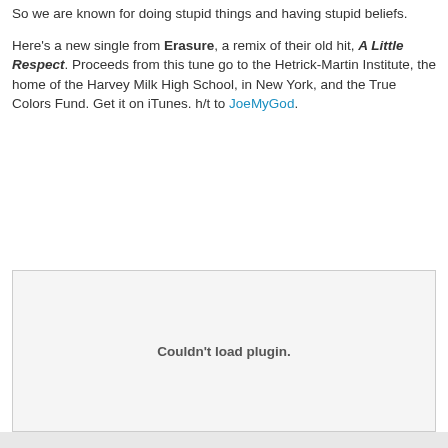So we are known for doing stupid things and having stupid beliefs.
Here's a new single from Erasure, a remix of their old hit, A Little Respect. Proceeds from this tune go to the Hetrick-Martin Institute, the home of the Harvey Milk High School, in New York, and the True Colors Fund. Get it on iTunes. h/t to JoeMyGod.
[Figure (other): Couldn't load plugin. — embedded media plugin placeholder]